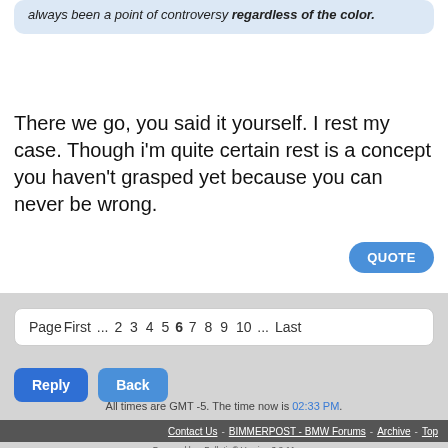always been a point of controversy regardless of the color.
There we go, you said it yourself. I rest my case. Though i'm quite certain rest is a concept you haven't grasped yet because you can never be wrong.
QUOTE
PageFirst ... 2 3 4 5 6 7 8 9 10 ... Last
Reply
Back
All times are GMT -5. The time now is 02:33 PM.
Contact Us - BIMMERPOST - BMW Forums - Archive - Top
Powered by vBulletin® Version 3.8.11
Copyright ©2000 - 2022, vBulletin Solutions Inc.
Privacy Policy - Terms of Service
Display Desktop Site